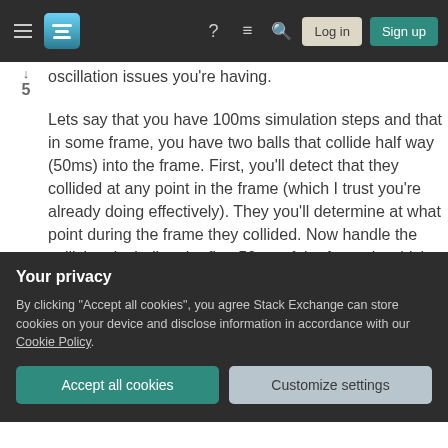Stack Exchange navigation bar with hamburger menu, logo, help, chat, search icons, Log in and Sign up buttons
oscillation issues you're having.
Lets say that you have 100ms simulation steps and that in some frame, you have two balls that collide half way (50ms) into the frame. First, you'll detect that they collided at any point in the frame (which I trust you're already doing effectively). They you'll determine at what point during the frame they collided. Now handle the collision, including the first 50ms of the frame in which they didn't collide. You'll now have the balls' new velocities, and you can also take steps now to ensure that they aren't
Your privacy
By clicking "Accept all cookies", you agree Stack Exchange can store cookies on your device and disclose information in accordance with our Cookie Policy.
Accept all cookies
Customize settings